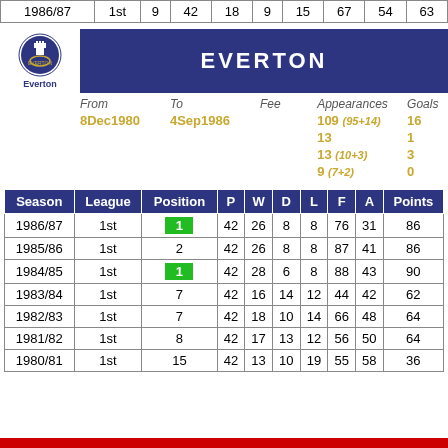|  | 1986/87 | 1st | 9 | 42 | 18 | 9 | 15 | 67 | 54 | 63 |
| --- | --- | --- | --- | --- | --- | --- | --- | --- | --- | --- |
| 1986/87 | 1st | 9 | 42 | 18 | 9 | 15 | 67 | 54 | 63 |
[Figure (logo): Everton FC club header with logo and club name]
| From | To | Fee | Appearances | Goals |
| --- | --- | --- | --- | --- |
| 8Dec1980 | 4Sep1986 |  | 109 (95+14) | 16 |
|  |  |  | 13 | 1 |
|  |  |  | 13 (10+3) | 3 |
|  |  |  | 9 (7+2) | 0 |
| Season | League | Position | P | W | D | L | F | A | Points |
| --- | --- | --- | --- | --- | --- | --- | --- | --- | --- |
| 1986/87 | 1st | 1 | 42 | 26 | 8 | 8 | 76 | 31 | 86 |
| 1985/86 | 1st | 2 | 42 | 26 | 8 | 8 | 87 | 41 | 86 |
| 1984/85 | 1st | 1 | 42 | 28 | 6 | 8 | 88 | 43 | 90 |
| 1983/84 | 1st | 7 | 42 | 16 | 14 | 12 | 44 | 42 | 62 |
| 1982/83 | 1st | 7 | 42 | 18 | 10 | 14 | 66 | 48 | 64 |
| 1981/82 | 1st | 8 | 42 | 17 | 13 | 12 | 56 | 50 | 64 |
| 1980/81 | 1st | 15 | 42 | 13 | 10 | 19 | 55 | 58 | 36 |